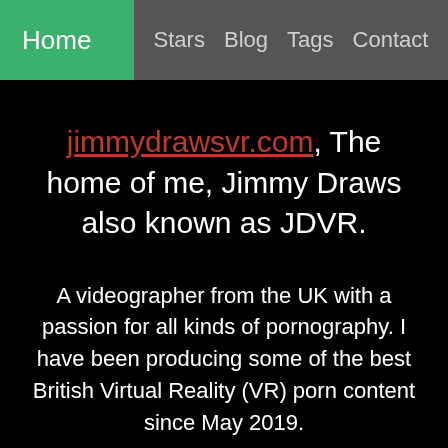Home  Stars  Blog  Tags  Contact
jimmydrawsvr.com, The home of me, Jimmy Draws also known as JDVR.
A videographer from the UK with a passion for all kinds of pornography. I have been producing some of the best British Virtual Reality (VR) porn content since May 2019.
I try to release at least one new scene per